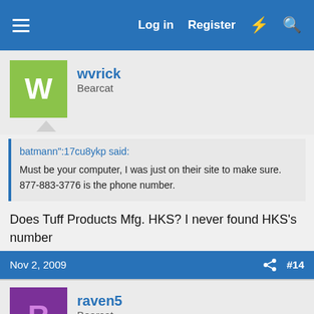Log in  Register
wvrick
Bearcat
batmann":17cu8ykp said:
Must be your computer, I was just on their site to make sure.
877-883-3776 is the phone number.
Does Tuff Products Mfg. HKS? I never found HKS's number
Nov 2, 2009  #14
raven5
Bearcat
Off the direct topic but speedloader related, has anyone tried the